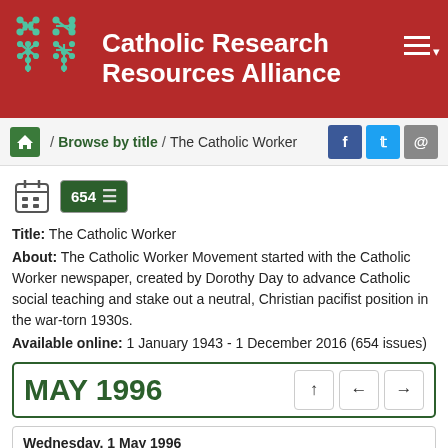Catholic Research Resources Alliance
/ Browse by title / The Catholic Worker
Title: The Catholic Worker
About: The Catholic Worker Movement started with the Catholic Worker newspaper, created by Dorothy Day to advance Catholic social teaching and stake out a neutral, Christian pacifist position in the war-torn 1930s.
Available online: 1 January 1943 - 1 December 2016 (654 issues)
MAY 1996
Wednesday, 1 May 1996
1 issue
The Catholic Worker